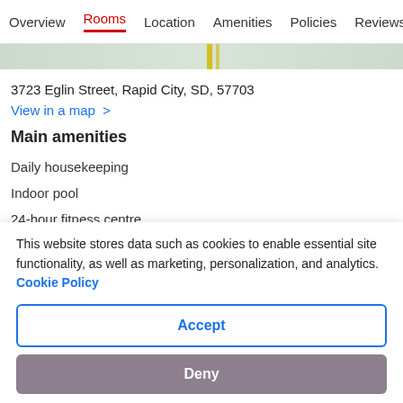Overview  Rooms  Location  Amenities  Policies  Reviews
[Figure (map): Partial map strip view]
3723 Eglin Street, Rapid City, SD, 57703
View in a map  >
Main amenities
Daily housekeeping
Indoor pool
24-hour fitness centre
Spa tub
24-hour business centre
This website stores data such as cookies to enable essential site functionality, as well as marketing, personalization, and analytics. Cookie Policy
Accept
Deny